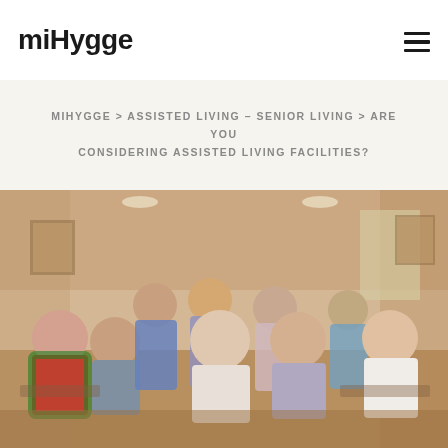miHygge
MIHYGGE > ASSISTED LIVING – SENIOR LIVING > ARE YOU CONSIDERING ASSISTED LIVING FACILITIES?
[Figure (photo): Group photo of elderly residents seated and standing in a warmly lit room, smiling at the camera. Multiple seniors of varying ages sit in chairs arranged in a semicircle, with a caregiver standing behind them.]